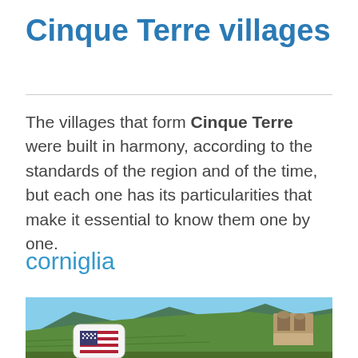Cinque Terre villages
The villages that form Cinque Terre were built in harmony, according to the standards of the region and of the time, but each one has its particularities that make it essential to know them one by one.
corniglia
[Figure (photo): Photograph of a hilltop village (Corniglia) in Cinque Terre with stone ruins in the foreground, terraced green hillside, and blue sky. A small US flag badge is overlaid in the lower-left corner.]